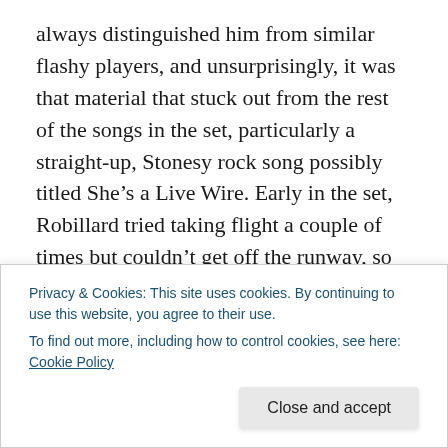always distinguished him from similar flashy players, and unsurprisingly, it was that material that stuck out from the rest of the songs in the set, particularly a straight-up, Stonesy rock song possibly titled She’s a Live Wire. Early in the set, Robillard tried taking flight a couple of times but couldn’t get off the runway, so he held back the rest of the way. He started playing his usual big, beautiful Gibson hollowbody, then switched to Telecaster and immediately found his groove. Then, surprisingly, he put it down and sang a cheesy old 50s hit, which didn’t exactly work out because nobody comes out to hear Robillard sing; he’s
Privacy & Cookies: This site uses cookies. By continuing to use this website, you agree to their use.
To find out more, including how to control cookies, see here: Cookie Policy
somebody had handed him and asked him to play, and